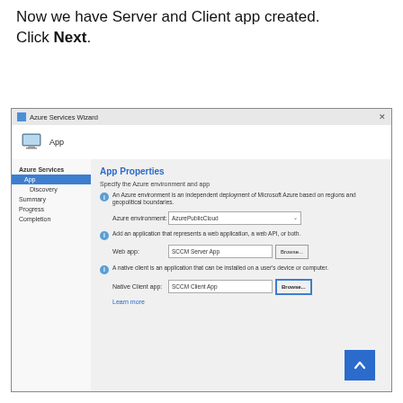Now we have Server and Client app created. Click Next.
[Figure (screenshot): Azure Services Wizard dialog showing App Properties page. Left nav has Azure Services section with App (selected/highlighted in blue), Discovery, Summary, Progress, Completion. Right panel shows App Properties with fields: Azure environment (AzurePublicCloud dropdown), Web app (SCCM Server App with Browse button), Native Client app (SCCM Client App with Browse button highlighted in blue border). Learn more link at bottom.]